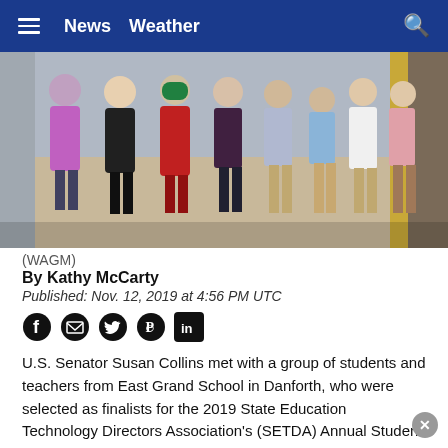News  Weather
[Figure (photo): Group of students and teachers posing together indoors, likely in a government building, with a U.S. Senator.]
(WAGM)
By Kathy McCarty
Published: Nov. 12, 2019 at 4:56 PM UTC
U.S. Senator Susan Collins met with a group of students and teachers from East Grand School in Danforth, who were selected as finalists for the 2019 State Education Technology Directors Association's (SETDA) Annual Student Voices Award.
SETDA recognizes K-12 schools that have leveraged